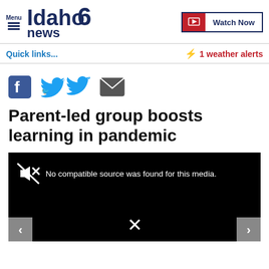Idaho News 6 | Menu | Watch Now
Quick links...
⚡ 1 weather alerts
[Figure (other): Social share icons: Facebook, Twitter, Email]
Parent-led group boosts learning in pandemic
[Figure (screenshot): Video player showing error: No compatible source was found for this media. Navigation arrows and X icon visible.]